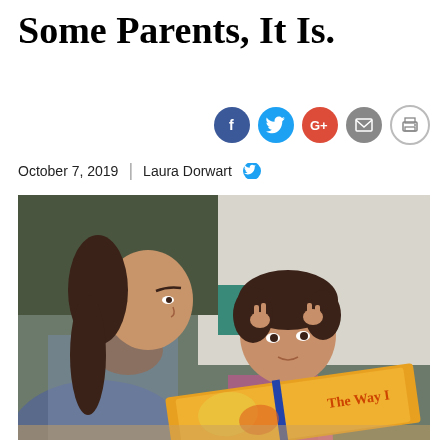Some Parents, It Is.
[Figure (other): Social media sharing icons: Facebook, Twitter, Google+, Email, Print]
October 7, 2019  |  Laura Dorwart
[Figure (photo): A woman with braided hair and plaid shirt sits with a young child who has dark hair. The child is raising their hands near their face while they look at a picture book titled 'The Way I...' which has a colorful orange/yellow cover.]